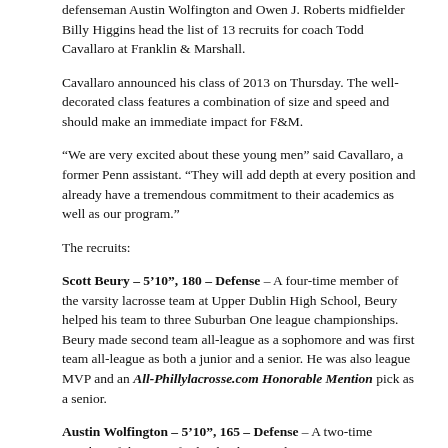defenseman Austin Wolfington and Owen J. Roberts midfielder Billy Higgins head the list of 13 recruits for coach Todd Cavallaro at Franklin & Marshall.
Cavallaro announced his class of 2013 on Thursday. The well-decorated class features a combination of size and speed and should make an immediate impact for F&M.
“We are very excited about these young men” said Cavallaro, a former Penn assistant. “They will add depth at every position and already have a tremendous commitment to their academics as well as our program.”
The recruits:
Scott Beury – 5’10”, 180 – Defense – A four-time member of the varsity lacrosse team at Upper Dublin High School, Beury helped his team to three Suburban One league championships. Beury made second team all-league as a sophomore and was first team all-league as both a junior and a senior. He was also league MVP and an All-Phillylacrosse.com Honorable Mention pick as a senior.
Austin Wolfington – 5’10”, 165 – Defense – A two-time member of the Haverford School varsity lacrosse team, Wolfington helped his team to a Pennsylvania State Final Four appearance his junior year and an Inter-Ac League co-